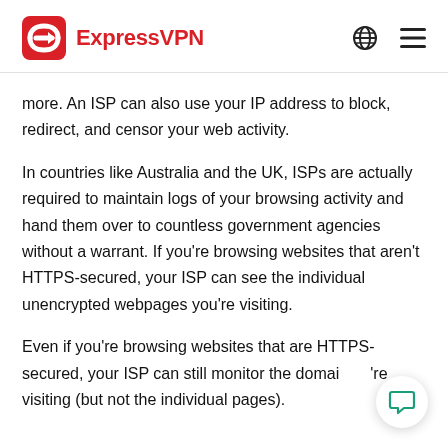ExpressVPN
more. An ISP can also use your IP address to block, redirect, and censor your web activity.
In countries like Australia and the UK, ISPs are actually required to maintain logs of your browsing activity and hand them over to countless government agencies without a warrant. If you’re browsing websites that aren’t HTTPS-secured, your ISP can see the individual unencrypted webpages you’re visiting.
Even if you’re browsing websites that are HTTPS-secured, your ISP can still monitor the domains you’re visiting (but not the individual pages).